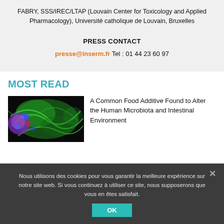FABRY, SSS/IREC/LTAP (Louvain Center for Toxicology and Applied Pharmacology), Université catholique de Louvain, Bruxelles
PRESS CONTACT
presse@inserm.fr  Tel : 01 44 23 60 97
MOST READ
[Figure (photo): Fluorescence microscopy image showing cells with green, blue and purple/red staining]
A Common Food Additive Found to Alter the Human Microbiota and Intestinal Environment
Nous utilisons des cookies pour vous garantir la meilleure expérience sur notre site web. Si vous continuez à utiliser ce site, nous supposerons que vous en êtes satisfait.
OK